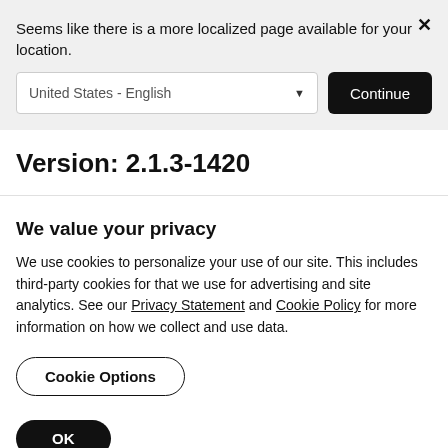Seems like there is a more localized page available for your location.
United States - English
Continue
Version: 2.1.3-1420
We value your privacy
We use cookies to personalize your use of our site. This includes third-party cookies for that we use for advertising and site analytics. See our Privacy Statement and Cookie Policy for more information on how we collect and use data.
Cookie Options
OK